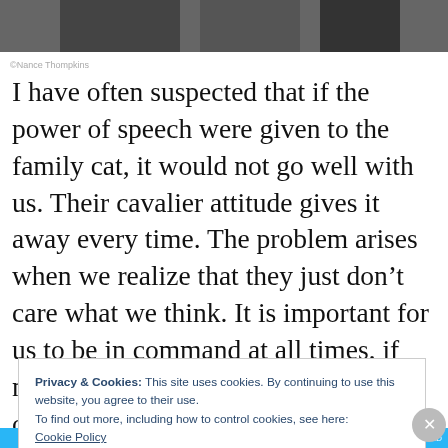[Figure (photo): Partial view of photo at top of page, cropped]
©Nance Thompkins
I have often suspected that if the power of speech were given to the family cat, it would not go well with us. Their cavalier attitude gives it away every time. The problem arises when we realize that they just don’t care what we think. It is important for us to be in command at all times, if not over our husbands, then at least over our cats.
Privacy & Cookies: This site uses cookies. By continuing to use this website, you agree to their use.
To find out more, including how to control cookies, see here:
Cookie Policy
Close and accept